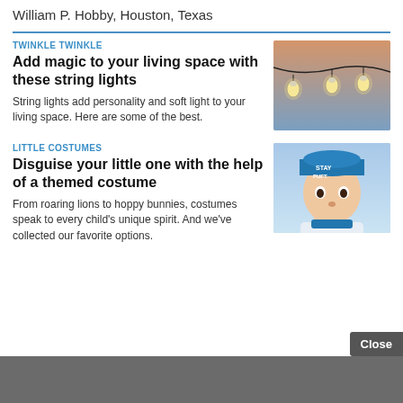William P. Hobby, Houston, Texas
TWINKLE TWINKLE
Add magic to your living space with these string lights
String lights add personality and soft light to your living space. Here are some of the best.
[Figure (photo): String lights with glowing bulbs against a dusk sky]
LITTLE COSTUMES
Disguise your little one with the help of a themed costume
From roaring lions to hoppy bunnies, costumes speak to every child's unique spirit. And we've collected our favorite options.
[Figure (photo): Baby wearing a blue Stay Puft themed hat and costume]